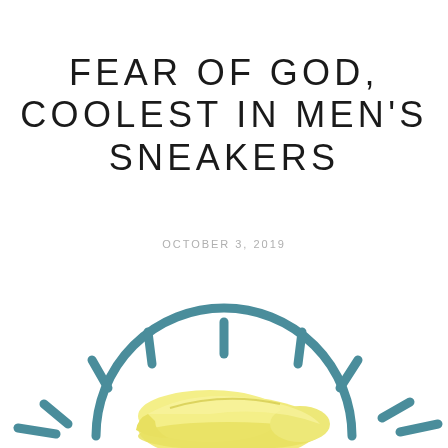FEAR OF GOD, COOLEST IN MEN'S SNEAKERS
OCTOBER 3, 2019
[Figure (illustration): A decorative sun illustration in teal/steel blue with a semicircle arc and radiating lines (rays), overlaid with a yellow sneaker (Fear of God shoe) at the bottom center of the image.]